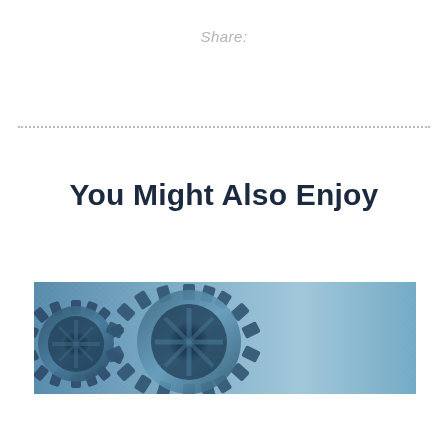Share:
[Figure (illustration): Horizontal dotted divider line]
You Might Also Enjoy
[Figure (photo): A horizontal banner photo of industrial metal gears and cogs with a blue-tinted metallic finish, showing interlocking gear teeth and circular gear shapes against a textured background.]